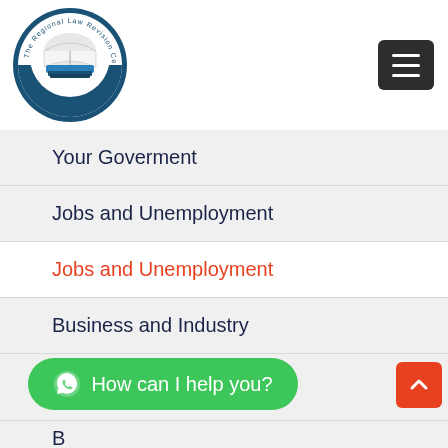[Figure (logo): The Regional Law Revision Centre Inc. circular logo with open book on stacked books, dark teal border with organization name around circumference]
[Figure (other): Dark grey hamburger menu button with three white horizontal lines]
Your Goverment
Jobs and Unemployment
Jobs and Unemployment
Business and Industry
Business and Industry
[Figure (other): Green rounded button with WhatsApp icon and text 'How can I help you?']
[Figure (other): Red square button with white upward arrow chevron]